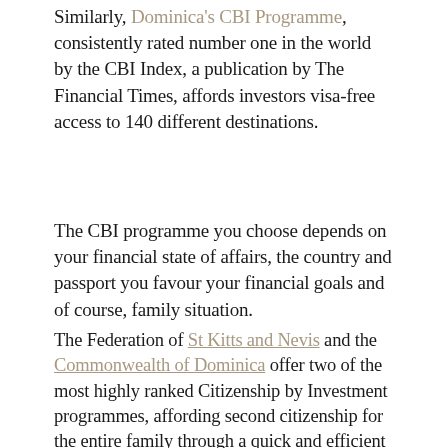Similarly, Dominica's CBI Programme, consistently rated number one in the world by the CBI Index, a publication by The Financial Times, affords investors visa-free access to 140 different destinations.
The CBI programme you choose depends on your financial state of affairs, the country and passport you favour your financial goals and of course, family situation.
The Federation of St Kitts and Nevis and the Commonwealth of Dominica offer two of the most highly ranked Citizenship by Investment programmes, affording second citizenship for the entire family through a quick and efficient process, with minimal investment and very few requirements.
Dominica's Citizenship by Investment